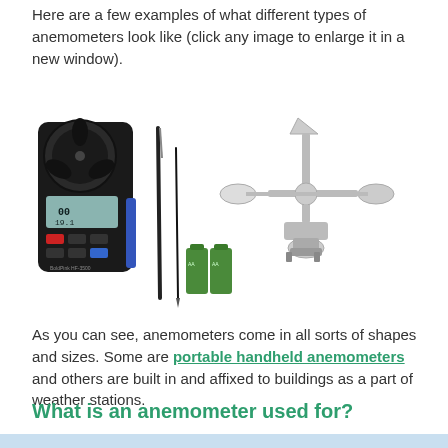Here are a few examples of what different types of anemometers look like (click any image to enlarge it in a new window).
[Figure (photo): Two anemometer images side by side: left is a handheld digital anemometer with display, screwdriver and batteries; right is a cup anemometer on a mounting bracket (weather station style).]
As you can see, anemometers come in all sorts of shapes and sizes. Some are portable handheld anemometers and others are built in and affixed to buildings as a part of weather stations.
What is an anemometer used for?